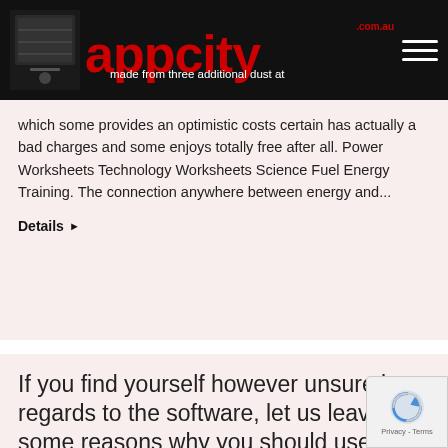appcity.com.au
made from three additional dust at which some provides an optimistic costs certain has actually a bad charges and some enjoys totally free after all. Power Worksheets Technology Worksheets Science Fuel Energy Training. The connection anywhere between energy and...
Details ▶
If you find yourself however unsure in regards to the software, let us leave you some reasons why you should use it –
bridgeport reviews · By appcityadmin · July 5, 2022 | Leave a comment